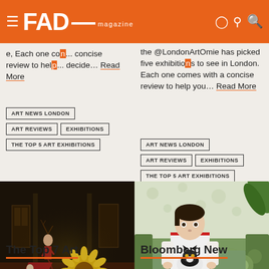FAD magazine
...e, Each one co... concise review to help you decide… Read More
the @LondonArtOmie has picked five exhibitions to see in London. Each one comes with a concise review to help you… Read More
ART NEWS LONDON
ART REVIEWS
EXHIBITIONS
THE TOP 5 ART EXHIBITIONS
ART NEWS LONDON
ART REVIEWS
EXHIBITIONS
THE TOP 5 ART EXHIBITIONS
[Figure (illustration): Dark interior scene with figures in costumes, a large sunflower, and a red carpet in a grand hall]
[Figure (illustration): Painting of a woman sitting on a green floral sofa holding a black and white cat, with leaf wallpaper in the background]
The Top 7 Art
Bloomberg New